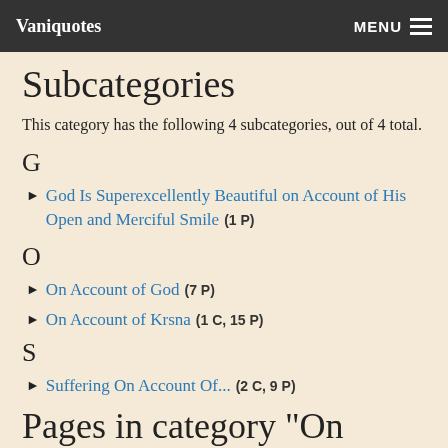Vaniquotes  MENU
Subcategories
This category has the following 4 subcategories, out of 4 total.
G
► God Is Superexcellently Beautiful on Account of His Open and Merciful Smile (1 P)
O
► On Account of God (7 P)
► On Account of Krsna (1 C, 15 P)
S
► Suffering On Account Of... (2 C, 9 P)
Pages in category "On Account Of"